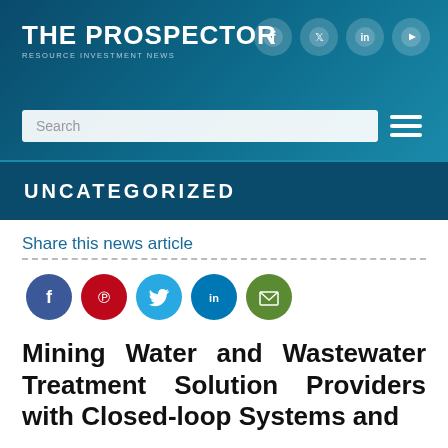THE PROSPECTOR — RESOURCE INVESTMENT NEWS
UNCATEGORIZED
Share this news article
[Figure (infographic): Social share icons: Facebook, Pinterest, Twitter, LinkedIn, Email]
Mining Water and Wastewater Treatment Solution Providers with Closed-loop Systems and